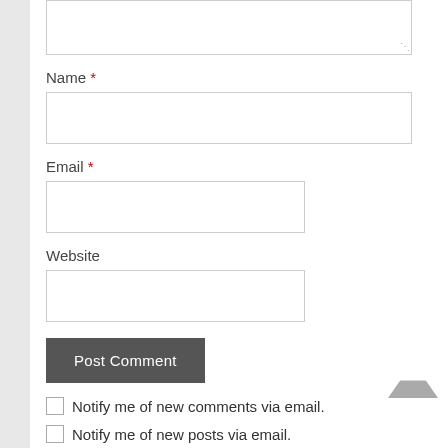[Figure (screenshot): Comment form textarea at top, partially visible]
Name *
[Figure (screenshot): Name input field, full width]
Email *
[Figure (screenshot): Email input field, partial width]
Website
[Figure (screenshot): Website input field, partial width]
[Figure (screenshot): Post Comment button]
Notify me of new comments via email.
Notify me of new posts via email.